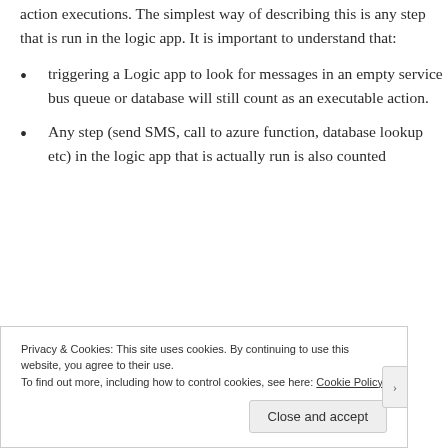action executions. The simplest way of describing this is any step that is run in the logic app. It is important to understand that:
triggering a Logic app to look for messages in an empty service bus queue or database will still count as an executable action.
Any step (send SMS, call to azure function, database lookup etc) in the logic app that is actually run is also counted
Privacy & Cookies: This site uses cookies. By continuing to use this website, you agree to their use.
To find out more, including how to control cookies, see here: Cookie Policy